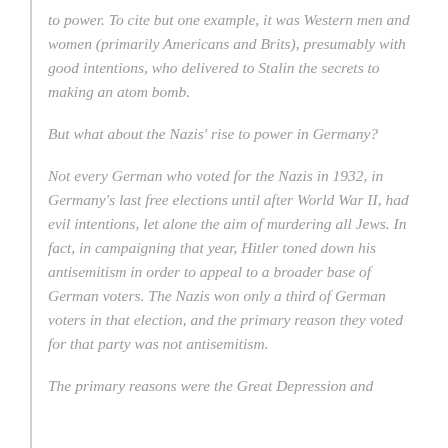to power. To cite but one example, it was Western men and women (primarily Americans and Brits), presumably with good intentions, who delivered to Stalin the secrets to making an atom bomb.
But what about the Nazis' rise to power in Germany?
Not every German who voted for the Nazis in 1932, in Germany's last free elections until after World War II, had evil intentions, let alone the aim of murdering all Jews. In fact, in campaigning that year, Hitler toned down his antisemitism in order to appeal to a broader base of German voters. The Nazis won only a third of German voters in that election, and the primary reason they voted for that party was not antisemitism.
The primary reasons were the Great Depression and